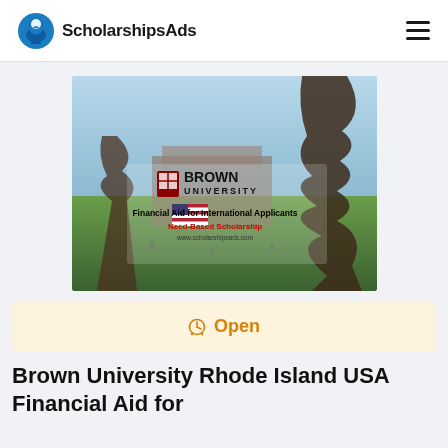ScholarshipsAds
[Figure (photo): Brown University campus photo with trees and lawn, overlaid with Brown University logo (shield + text), US flag, and text: Financial Aid for International Applicants, Need-Based Scholarship, www.scholarshipsads.com]
Open
Brown University Rhode Island USA Financial Aid for